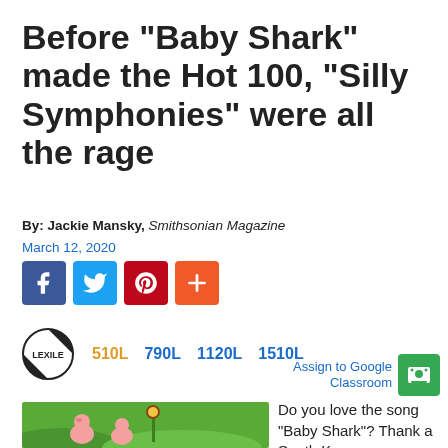Before "Baby Shark" made the Hot 100, "Silly Symphonies" were all the rage
By: Jackie Mansky, Smithsonian Magazine
March 12, 2020
[Figure (infographic): Social media share buttons: Facebook (blue), Twitter (light blue), Pinterest (red), More/Plus (orange)]
[Figure (logo): Lexile logo with reading level options: 510L (orange/gold), 790L (blue), 1120L (blue), 1510L (blue)]
Assign to Google Classroom
[Figure (illustration): Cartoon illustration from Silly Symphonies showing animated pig characters in a green outdoor setting]
Do you love the song "Baby Shark"? Thank a South Korean